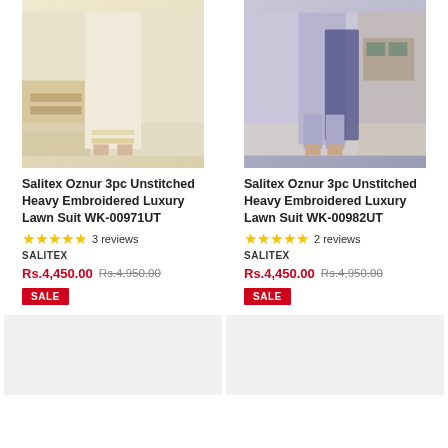[Figure (photo): Woman wearing cream/off-white 3pc lawn suit standing near wooden furniture]
Salitex Oznur 3pc Unstitched Heavy Embroidered Luxury Lawn Suit WK-00971UT
★★★★★ 3 reviews
SALITEX
Rs.4,450.00  Rs.4,950.00
SALE
[Figure (photo): Woman wearing lavender/purple 3pc lawn suit standing near wooden furniture]
Salitex Oznur 3pc Unstitched Heavy Embroidered Luxury Lawn Suit WK-00982UT
★★★★★ 2 reviews
SALITEX
Rs.4,450.00  Rs.4,950.00
SALE
[Figure (photo): Product image placeholder (bottom left) - light gray]
[Figure (photo): Product image placeholder (bottom right) - light gray]